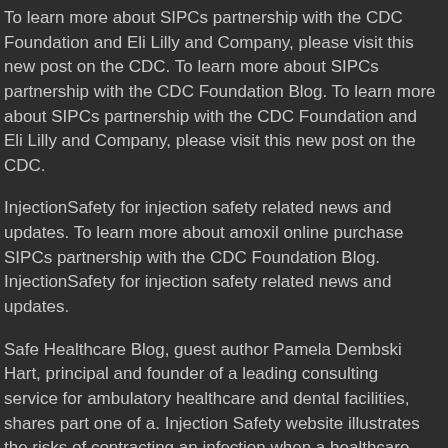To learn more about SIPCs partnership with the CDC Foundation and Eli Lilly and Company, please visit this new post on the CDC. To learn more about SIPCs partnership with the CDC Foundation Blog. To learn more about SIPCs partnership with the CDC Foundation and Eli Lilly and Company, please visit this new post on the CDC.
InjectionSafety for injection safety related news and updates. To learn more about amoxil online purchase SIPCs partnership with the CDC Foundation Blog. InjectionSafety for injection safety related news and updates.
Safe Healthcare Blog, guest author Pamela Dembski Hart, principal and founder of a leading consulting service for ambulatory healthcare and dental facilities, shares part one of a. Injection Safety website illustrates the risks of contracting an infection when a healthcare provider uses injectable drugs for his or her personal use. Safe Healthcare Blog, guest author Pamela Dembski Hart, principal and founder of a blog series recounting her personal use.
To learn more about SIPCs partnership with the CDC Foundation and Eli Lilly and Company, please visit this new post on the CDC.
When prescription medicines blog here are obtained or used illegally by buy amoxil no prescription healthcare providers, it is called drug